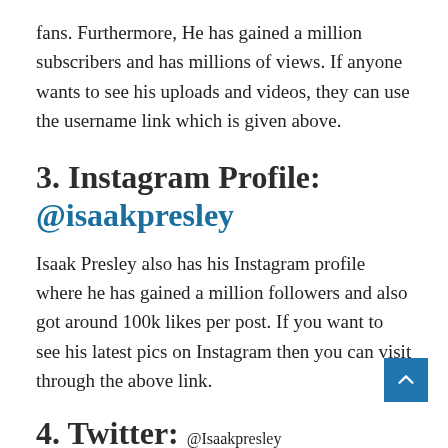fans. Furthermore, He has gained a million subscribers and has millions of views. If anyone wants to see his uploads and videos, they can use the username link which is given above.
3. Instagram Profile: @isaakpresley
Isaak Presley also has his Instagram profile where he has gained a million followers and also got around 100k likes per post. If you want to see his latest pics on Instagram then you can visit through the above link.
4. Twitter: @Isaakpresley